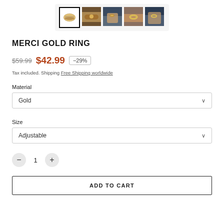[Figure (photo): Five product thumbnail images of a gold ring, the first selected with a black border showing a plain gold band on white background, followed by four contextual photos showing the ring being worn on hands in various settings.]
MERCI GOLD RING
$59.99 $42.99 -29%
Tax included. Shipping Free Shipping worldwide
Material
Gold
Size
Adjustable
1
ADD TO CART